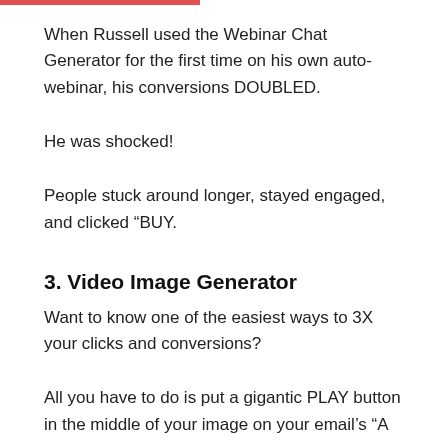When Russell used the Webinar Chat Generator for the first time on his own auto-webinar, his conversions DOUBLED.
He was shocked!
People stuck around longer, stayed engaged, and clicked “BUY.
3. Video Image Generator
Want to know one of the easiest ways to 3X your clicks and conversions?
All you have to do is put a gigantic PLAY button in the middle of your image on your email’s “A